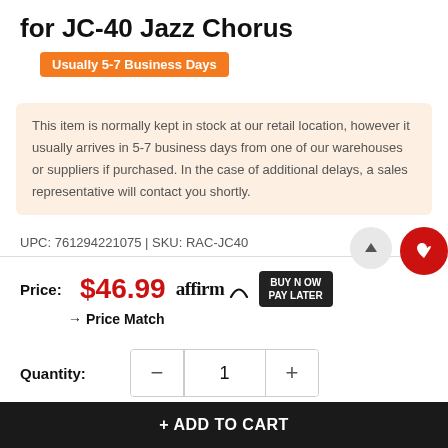for JC-40 Jazz Chorus
Usually 5-7 Business Days
This item is normally kept in stock at our retail location, however it usually arrives in 5-7 business days from one of our warehouses or suppliers if purchased. In the case of additional delays, a sales representative will contact you shortly.
UPC: 761294221075 | SKU: RAC-JC40
Price: $46.99 affirm BUY NOW PAY LATER
→ Price Match
Quantity: 1
+ ADD TO CART